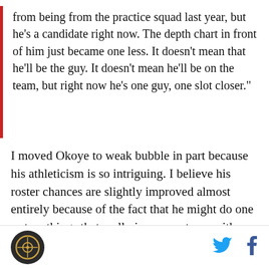from being from the practice squad last year, but he's a candidate right now. The depth chart in front of him just became one less. It doesn't mean that he'll be the guy. It doesn't mean he'll be on the team, but right now he's one guy, one slot closer."
I moved Okoye to weak bubble in part because his athleticism is so intriguing. I believe his roster chances are slightly improved almost entirely because of the fact that he might do one or two things that really impress a team with little talent on their defensive line. Maybe Okoye does enough on special teams to impress somebody. I would still be surprised if he made the 53-man roster, but there is the slightest of openings for him.
[Figure (logo): Circular logo with dark background and gold/white icon in center]